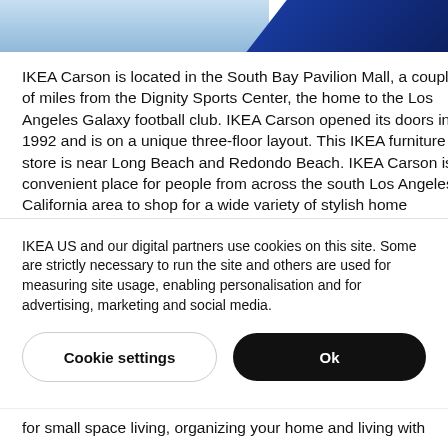[Figure (photo): Top banner photo showing a blue sky with clouds on the left and a dark navy/blue geometric shape on the right, partial view of an IKEA store exterior.]
IKEA Carson is located in the South Bay Pavilion Mall, a couple of miles from the Dignity Sports Center, the home to the Los Angeles Galaxy football club. IKEA Carson opened its doors in 1992 and is on a unique three-floor layout. This IKEA furniture store is near Long Beach and Redondo Beach. IKEA Carson is a convenient place for people from across the south Los Angeles, California area to shop for a wide variety of stylish home furnishings, unique modern home décor and smart storage and organization solutions. IKEA Carson is the perfect
IKEA US and our digital partners use cookies on this site. Some are strictly necessary to run the site and others are used for measuring site usage, enabling personalisation and for advertising, marketing and social media.
Cookie settings
Ok
for small space living, organizing your home and living with